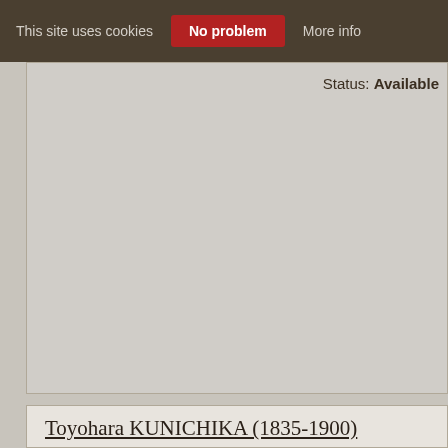This site uses cookies  No problem  More info
Status: Available
Toyohara KUNICHIKA (1835-1900)
[Figure (photo): Japanese woodblock print showing a woman (geisha) in a striped kimono reaching upward, with fishing lines visible, blue background]
A cho-oban (20 x 6.7... crayfish. Each design... Matsui Eikichi, 1893...
Fine impression and ... Kunichika hitsu.